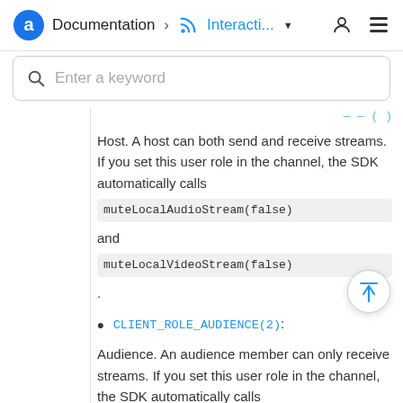Documentation > Interacti... (dropdown) [user icon] [menu icon]
Enter a keyword (search bar)
Host. A host can both send and receive streams. If you set this user role in the channel, the SDK automatically calls muteLocalAudioStream(false) and muteLocalVideoStream(false).
CLIENT_ROLE_AUDIENCE(2): Audience. An audience member can only receive streams. If you set this user role in the channel, the SDK automatically calls muteLocalAudioStream(true)...